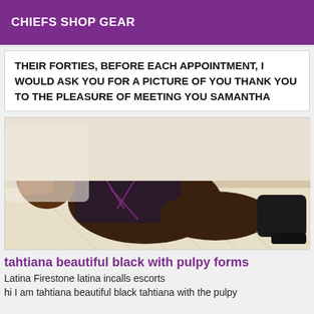CHIEFS SHOP GEAR
THEIR FORTIES, BEFORE EACH APPOINTMENT, I WOULD ASK YOU FOR A PICTURE OF YOU THANK YOU TO THE PLEASURE OF MEETING YOU SAMANTHA
[Figure (photo): A woman lying on a bed wearing dark lingerie and boots]
tahtiana beautiful black with pulpy forms
Latina Firestone latina incalls escorts
hi I am tahtiana beautiful black tahtiana with the pulpy